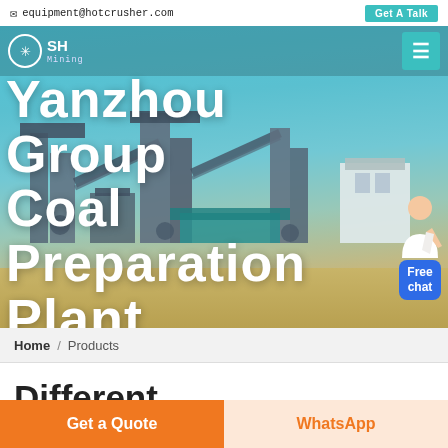equipment@hotcrusher.com  |  Get A Talk
[Figure (screenshot): Mining industrial equipment / coal preparation plant facility with conveyor belts and processing machinery, hero banner image with teal/sky background]
Yanzhou Group Mining Coal Preparation Plant
Home / Products
Different Machines To Meet All
Get a Quote  |  WhatsApp